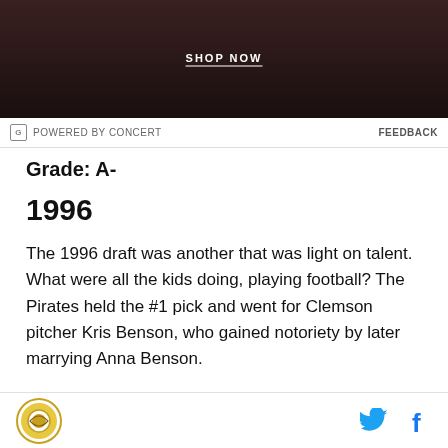[Figure (photo): Advertisement image with dark background and 'SHOP NOW' button]
POWERED BY CONCERT   FEEDBACK
Grade: A-
1996
The 1996 draft was another that was light on talent. What were all the kids doing, playing football? The Pirates held the #1 pick and went for Clemson pitcher Kris Benson, who gained notoriety by later marrying Anna Benson.
Anyway, the draft. The Royals had pick #14 and selected high school outfielder Dee Brown. They could
SB Nation logo | Twitter icon | Facebook icon